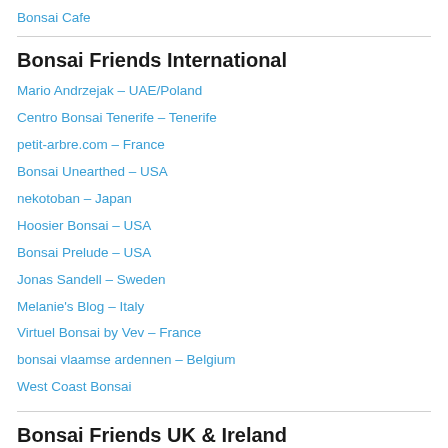Bonsai Cafe
Bonsai Friends International
Mario Andrzejak – UAE/Poland
Centro Bonsai Tenerife – Tenerife
petit-arbre.com – France
Bonsai Unearthed – USA
nekotoban – Japan
Hoosier Bonsai – USA
Bonsai Prelude – USA
Jonas Sandell – Sweden
Melanie's Blog – Italy
Virtuel Bonsai by Vev – France
bonsai vlaamse ardennen – Belgium
West Coast Bonsai
Bonsai Friends UK & Ireland